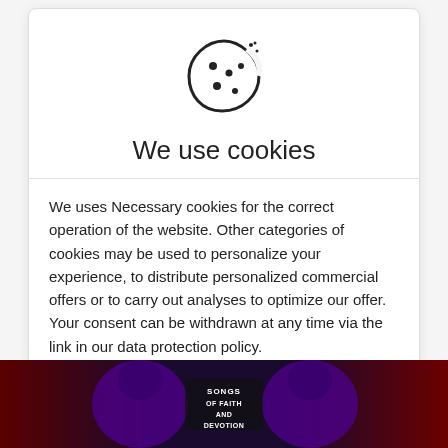[Figure (illustration): Cookie icon — a circle with bite taken out and dots representing a cookie, rendered in black outline]
We use cookies
We uses Necessary cookies for the correct operation of the website. Other categories of cookies may be used to personalize your experience, to distribute personalized commercial offers or to carry out analyses to optimize our offer. Your consent can be withdrawn at any time via the link in our data protection policy.
≡ Customize
✕ Refuse
✓ Allow all cookies
ℹ Find out more information
[Figure (photo): Album cover photo showing two figures in purple hooded robes, with text 'Songs of Faith and Devotion' on a red/dark background]